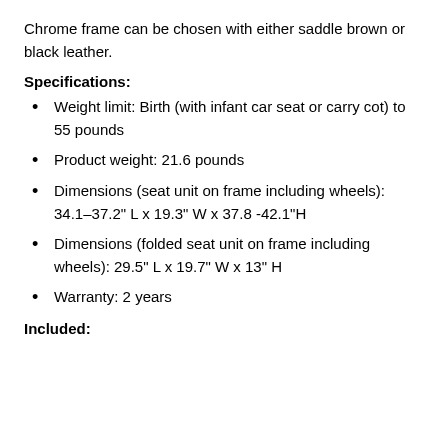Chrome frame can be chosen with either saddle brown or black leather.
Specifications:
Weight limit: Birth (with infant car seat or carry cot) to 55 pounds
Product weight: 21.6 pounds
Dimensions (seat unit on frame including wheels): 34.1–37.2" L x 19.3" W x 37.8 -42.1"H
Dimensions (folded seat unit on frame including wheels): 29.5" L x 19.7" W x 13" H
Warranty: 2 years
Included: